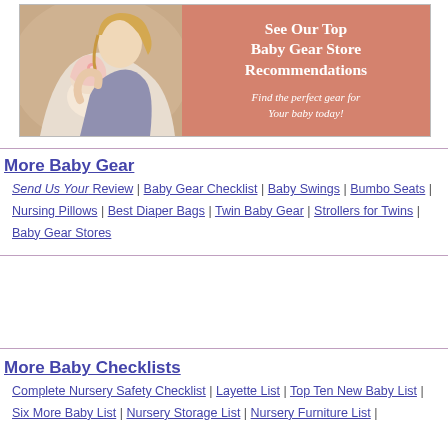[Figure (photo): Banner advertisement showing a mother holding a baby, with salmon/pink background on the right side containing text 'See Our Top Baby Gear Store Recommendations' and 'Find the perfect gear for Your baby today!']
More Baby Gear
Send Us Your Review | Baby Gear Checklist | Baby Swings | Bumbo Seats | Nursing Pillows | Best Diaper Bags | Twin Baby Gear | Strollers for Twins | Baby Gear Stores
More Baby Checklists
Complete Nursery Safety Checklist | Layette List | Top Ten New Baby List | Six More Baby List | Nursery Storage List | Nursery Furniture List |